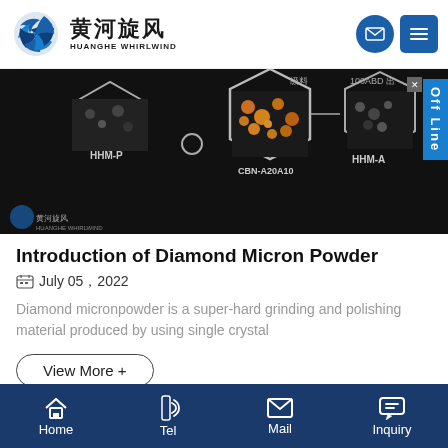黄河旋风 HUANGHE WHIRLWIND
[Figure (photo): Dark background product photo showing diamond micron powder particles in hexagonal frames with labels HHM-P, CBN-A20A10, HHM-A and Chinese text. Huanghe Whirlwind logo visible at bottom left.]
Introduction of Diamond Micron Powder
July 05 , 2022
Diamond micronpowder is a super-hard grinding and polishing material produced by using single crystal
View More +
Home  Tel  Mail  Inquiry